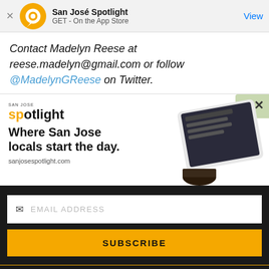[Figure (screenshot): App store banner for San José Spotlight with orange circular logo, app name, GET - On the App Store, and View button]
Contact Madelyn Reese at reese.madelyn@gmail.com or follow @MadelynGReese on Twitter.
[Figure (screenshot): San José Spotlight advertisement showing logo, headline 'Where San Jose locals start the day.' with tablet image and sanjosespotlight.com URL]
[Figure (screenshot): Email subscription form with EMAIL ADDRESS input field and SUBSCRIBE button on dark background]
Thanks, I'm not interested or already a subscriber